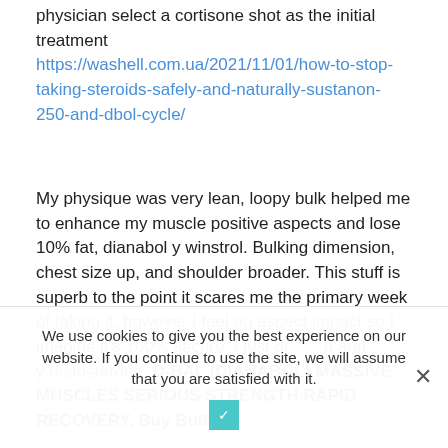physician select a cortisone shot as the initial treatment https://washell.com.ua/2021/11/01/how-to-stop-taking-steroids-safely-and-naturally-sustanon-250-and-dbol-cycle/
My physique was very lean, loopy bulk helped me to enhance my muscle positive aspects and lose 10% fat, dianabol y winstrol. Bulking dimension, chest size up, and shoulder broader. This stuff is superb to the point it scares me the primary week of taking it, however I feel no aspect impact so I imagine it's 100% secure. I just on ... and ... y testosterona. D-BAL (DIANABOL) MASSIVE MUSCLES SERIOUS STRENGTH RAPID RECOVERY. Buy Bulk &
We use cookies to give you the best experience on our website. If you continue to use the site, we will assume that you are satisfied with it.